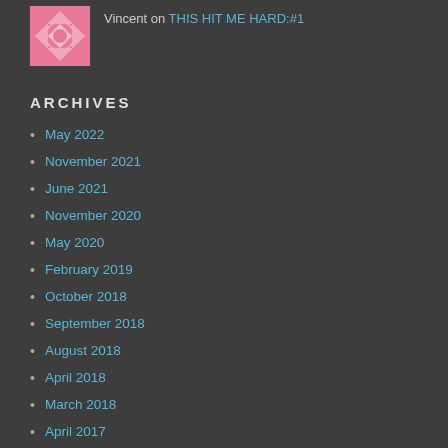[Figure (photo): Pink and white geometric/quilt pattern avatar thumbnail image]
Vincent on THIS HIT ME HARD:#1
ARCHIVES
May 2022
November 2021
June 2021
November 2020
May 2020
February 2019
October 2018
September 2018
August 2018
April 2018
March 2018
April 2017
March 2017